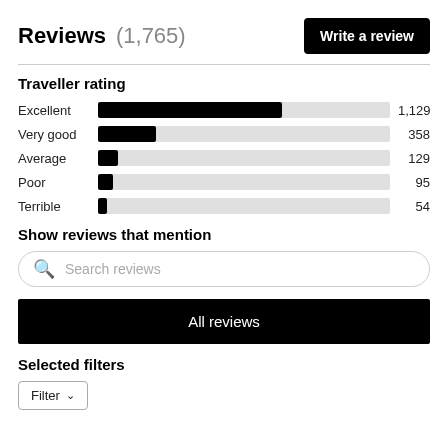Reviews (1,765)
[Figure (bar-chart): Traveller rating]
Show reviews that mention
Search reviews
All reviews
Selected filters
Filter